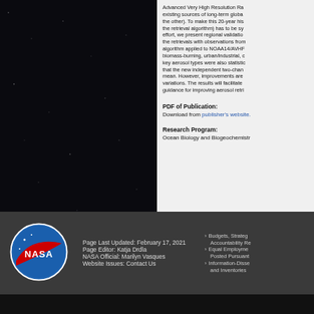Advanced Very High Resolution Ra... existing sources of long-term global... the other). To make this 20-year his... the retrieval algorithm) has to be sy... effort, we present regional validatio... the retrievals with observations fro... algorithm applied to NOAA14/AVHF... biomass-burning, urban/industrial, ... key aerosol types were also statistic... that the new independent two-chan... mean. However, improvements are... variations. The results will facilitate... guidance for improving aerosol retri...
PDF of Publication:
Download from publisher's website.
Research Program:
Ocean Biology and Biogeochemistry
[Figure (logo): NASA meatball logo — blue circle with red swoosh and white NASA text]
Page Last Updated: February 17, 2021
Page Editor: Katja Drdla
NASA Official: Marilyn Vasques
Website Issues: Contact Us
Budgets, Strate... Accountability Re... Equal Employme... Posted Pursuant... Information-Disse... and Inventories